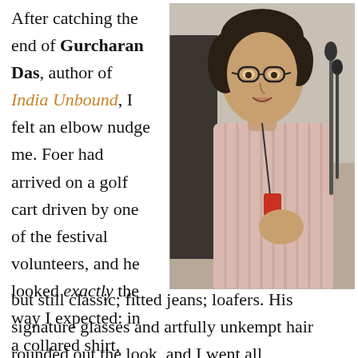After catching the end of Gurcharan Das, author of India Unbound, I felt an elbow nudge me. Foer had arrived on a golf cart driven by one of the festival volunteers, and he looked exactly the way I expected: in a collared shirt, casual but still classic; fitted jeans; loafers. His signature glasses and artfully unkempt hair rounded out the look, and I went all stalker/paparazzi on the poor guy by zooming in as close as possible with my point-and-shoot before he even stepped out of the sunshine. Cute, I
[Figure (photo): A young man with dark curly hair and round glasses speaking at a microphone, wearing a collared striped shirt with a lanyard/badge, gesturing with his hand.]